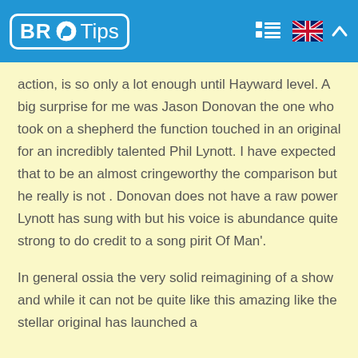BR Tips
action, is so only a lot enough until Hayward level. A big surprise for me was Jason Donovan the one who took on a shepherd the function touched in an original for an incredibly talented Phil Lynott. I have expected that to be an almost cringeworthy the comparison but he really is not . Donovan does not have a raw power Lynott has sung with but his voice is abundance quite strong to do credit to a song pirit Of Man'.
In general ossia the very solid reimagining of a show and while it can not be quite like this amazing like the stellar original has launched a